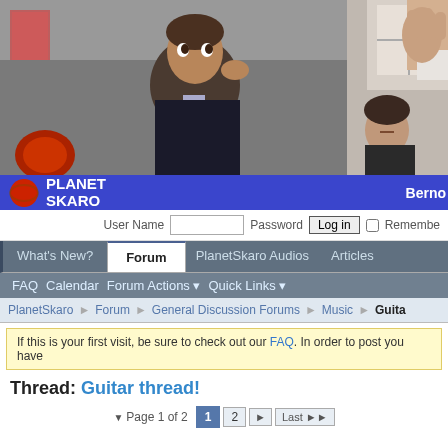[Figure (screenshot): Planet Skaro website banner showing two TV stills: left image shows a man in dark clothing looking alarmed outdoors; right image shows a person with raised hand. A blue bar at bottom shows 'PLANET SKARO' logo text on left and 'Berno' partial text on right.]
User Name   Password   Log in  Remember
What's New?  Forum  PlanetSkaro Audios  Articles
FAQ  Calendar  Forum Actions  Quick Links
PlanetSkaro > Forum > General Discussion Forums > Music > Guita
If this is your first visit, be sure to check out our FAQ. In order to post you have
Thread: Guitar thread!
Page 1 of 2  1  2  ▶  Last ▶▶